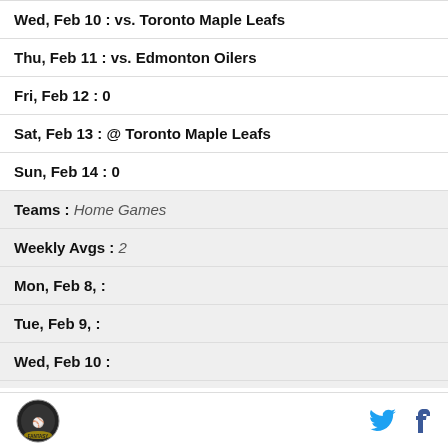| Wed, Feb 10 : vs. Toronto Maple Leafs |
| Thu, Feb 11 : vs. Edmonton Oilers |
| Fri, Feb 12 : 0 |
| Sat, Feb 13 : @ Toronto Maple Leafs |
| Sun, Feb 14 : 0 |
| Teams : Home Games |
| Weekly Avgs : 2 |
| Mon, Feb 8, : |
| Tue, Feb 9, : |
| Wed, Feb 10 : |
| Thu, Feb 11 : |
Logo | Twitter | Facebook